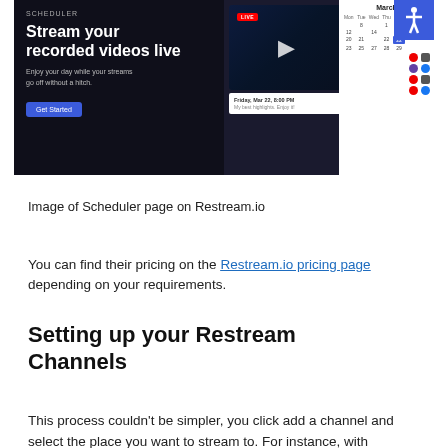[Figure (screenshot): Screenshot of Scheduler page on Restream.io showing a dark-themed interface with 'Stream your recorded videos live' heading, a video player with LIVE badge and play button, a scheduling popup showing Friday Mar 22 8:00 PM, a calendar view for March, and platform icons.]
Image of Scheduler page on Restream.io
You can find their pricing on the Restream.io pricing page depending on your requirements.
Setting up your Restream Channels
This process couldn't be simpler, you click add a channel and select the place you want to stream to. For instance, with Facebook, you can select the profile of the person